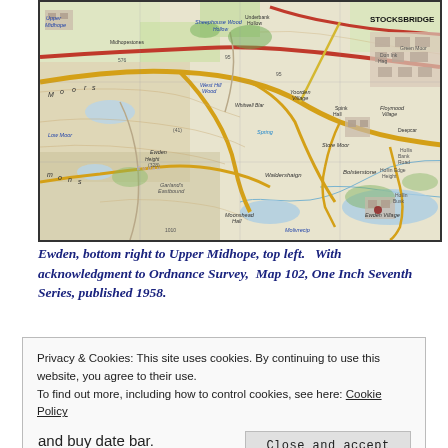[Figure (map): Ordnance Survey map extract showing the area from Ewden (bottom right) to Upper Midhope (top left), including Stocksbridge, Waldershaign, Bolsterstone, Midhopestones, and surrounding moorland. One Inch Seventh Series, 1958.]
Ewden, bottom right to Upper Midhope, top left.   With acknowledgment to Ordnance Survey,  Map 102, One Inch Seventh Series, published 1958.
Privacy & Cookies: This site uses cookies. By continuing to use this website, you agree to their use.
To find out more, including how to control cookies, see here: Cookie Policy
Close and accept
and buy date bar.